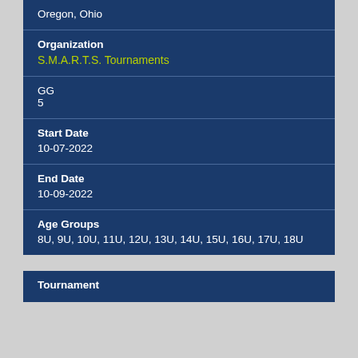Oregon, Ohio
Organization
S.M.A.R.T.S. Tournaments
GG
5
Start Date
10-07-2022
End Date
10-09-2022
Age Groups
8U, 9U, 10U, 11U, 12U, 13U, 14U, 15U, 16U, 17U, 18U
Tournament